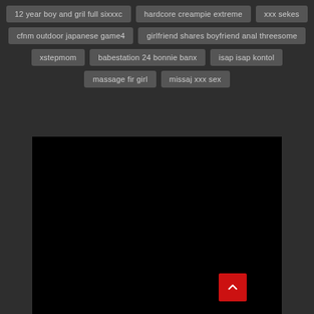12 year boy and gril full sixxxc
hardcore creampie extreme
xxx sekes
cfnm outdoor japanese game4
girlfriend shares boyfriend anal threesome
xstepmom
babestation 24 bonnie banx
isap isap kontol
massage fir girl
missaj xxx sex
[Figure (other): Black rectangle area representing a video player or image placeholder]